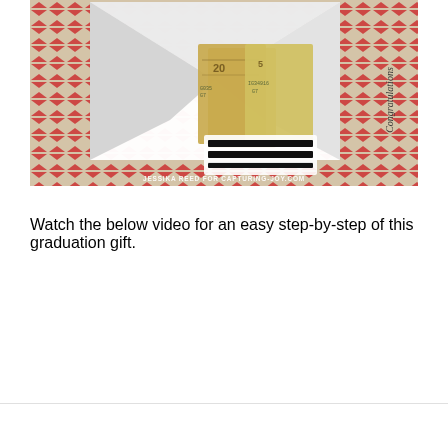[Figure (photo): A graduation gift box with a red and beige chevron/arrow pattern background. Inside the white folded box is cash (dollar bills) and a congratulations card with black stripes. Watermark text reads: JESSIKA REED FOR CAPTURING-JOY.COM]
Watch the below video for an easy step-by-step of this graduation gift.